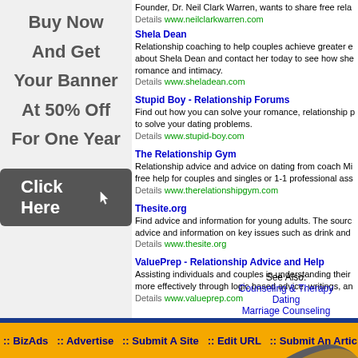[Figure (infographic): Left advertisement panel with dark gray background showing 'Buy Now And Get Your Banner At 50% Off For One Year' text and a dark 'Click Here' button with cursor icon]
Founder, Dr. Neil Clark Warren, wants to share free rela...
Details www.neilclarkwarren.com
Shela Dean
Relationship coaching to help couples achieve greater e... about Shela Dean and contact her today to see how she... romance and intimacy.
Details www.sheladean.com
Stupid Boy - Relationship Forums
Find out how you can solve your romance, relationship p... to solve your dating problems.
Details www.stupid-boy.com
The Relationship Gym
Relationship advice and advice on dating from coach Mi... free help for couples and singles or 1-1 professional ass...
Details www.therelationshipgym.com
Thesite.org
Find advice and information for young adults. The sourc... advice and information on key issues such as drink and...
Details www.thesite.org
ValuePrep - Relationship Advice and Help
Assisting individuals and couples in understanding their... more effectively through logic based advice, writings, an...
Details www.valueprep.com
See Also:
Counseling & Therapy
Dating
Marriage Counseling
:: BizAds  :: Advertise  :: Submit A Site  :: Edit URL  :: Submit An Artic...